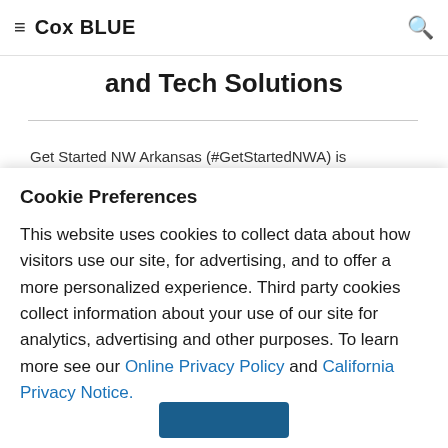Cox BLUE
and Tech Solutions
Get Started NW Arkansas (#GetStartedNWA) is
Cookie Preferences
This website uses cookies to collect data about how visitors use our site, for advertising, and to offer a more personalized experience. Third party cookies collect information about your use of our site for analytics, advertising and other purposes. To learn more see our Online Privacy Policy and California Privacy Notice.